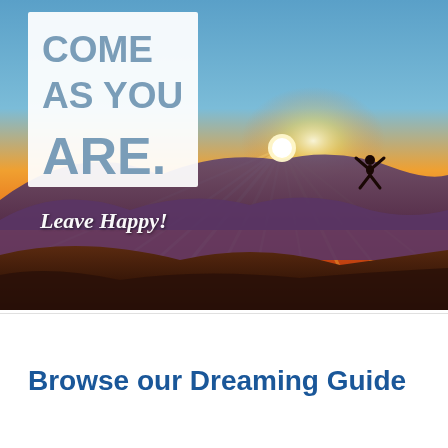[Figure (photo): Sunrise/sunset mountain landscape photo with a person jumping with arms raised on a hilltop silhouetted against a brilliant sun with rays spreading across mountains. A white box overlay in the upper left reads 'COME AS YOU ARE.' in bold grey/blue text. Below the white box, italic white text reads 'Leave Happy!']
Browse our Dreaming Guide